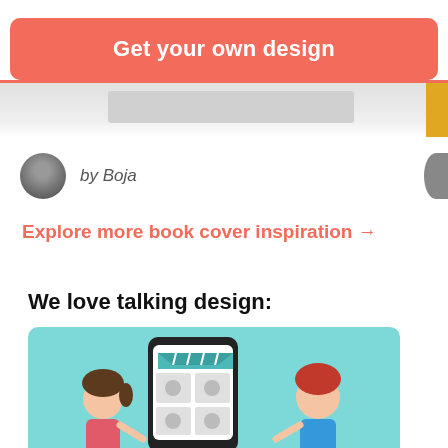Get your own design
[Figure (illustration): Partial preview strip showing book cover thumbnails in grey with a gold strip on right edge]
by Boja
Explore more book cover inspiration →
We love talking design:
[Figure (illustration): Illustration of two cartoon characters (girl with ponytail and boy with red hair) looking at a mobile phone showing an app marketplace with awning and product icons, on a teal background]